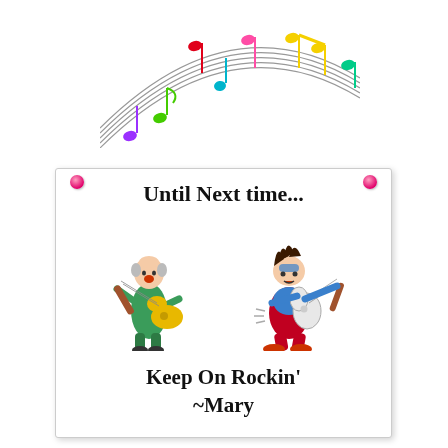[Figure (illustration): Colorful musical notes on a curved staff arc, with notes in purple, green, red, blue, pink, yellow, and teal colors, arching across the top portion of the image.]
[Figure (illustration): A white card/sign pinned with two pink tacks, containing text 'Until Next time...' at the top, cartoon illustrations of two guitar players (an older bald man and a young boy both playing electric guitars), and text 'Keep On Rockin'' and '~Mary' at the bottom.]
Until Next time...
Keep On Rockin'
~Mary